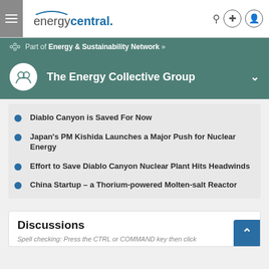energycentral. | Part of Energy & Sustainability Network
The Energy Collective Group
Diablo Canyon is Saved For Now
Japan's PM Kishida Launches a Major Push for Nuclear Energy
Effort to Save Diablo Canyon Nuclear Plant Hits Headwinds
China Startup – a Thorium-powered Molten-salt Reactor
Discussions
Spell checking: Press the CTRL or COMMAND key then click